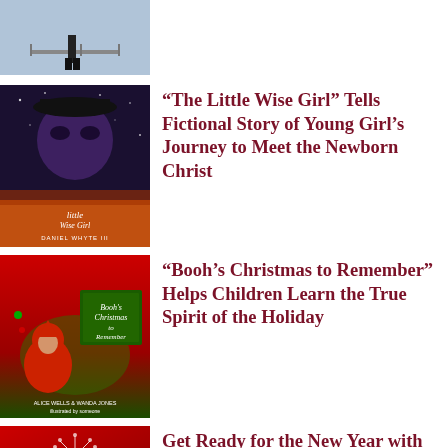[Figure (photo): Partial view of a person standing near a railing by water, only lower body visible, cropped at top of page.]
[Figure (photo): Book cover of 'The Little Wise Girl' by Daniel Whyte III, showing a stylized illustration of a girl's face against a dark starry background with an orange lower section.]
“The Little Wise Girl” Tells Fictional Story of Young Girl’s Journey to Meet the Newborn Christ
[Figure (photo): Book cover of 'Booh's Christmas to Remember', showing a cartoon character in a red hooded outfit against a Christmas-themed red and green background.]
“Booh’s Christmas to Remember” Helps Children Learn the True Spirit of the Holiday
[Figure (photo): Partial book cover of 'How to Forget The...' by Daniel Whyte III, showing a red background with white dandelion and ribbon design, partially cropped.]
Get Ready for the New Year with Daniel Whyte III’s